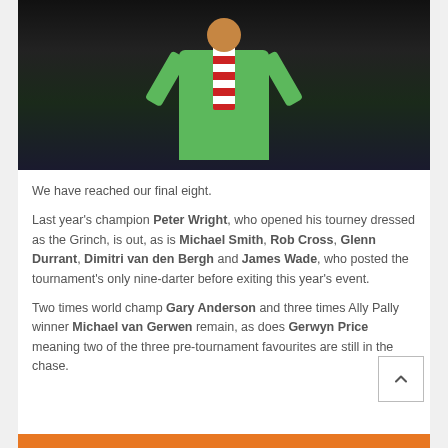[Figure (photo): A darts player wearing a bright green shirt and a red-and-white striped scarf, arms spread wide, performing on stage against a dark background.]
We have reached our final eight.
Last year's champion Peter Wright, who opened his tourney dressed as the Grinch, is out, as is Michael Smith, Rob Cross, Glenn Durrant, Dimitri van den Bergh and James Wade, who posted the tournament's only nine-darter before exiting this year's event.
Two times world champ Gary Anderson and three times Ally Pally winner Michael van Gerwen remain, as does Gerwyn Price meaning two of the three pre-tournament favourites are still in the chase.